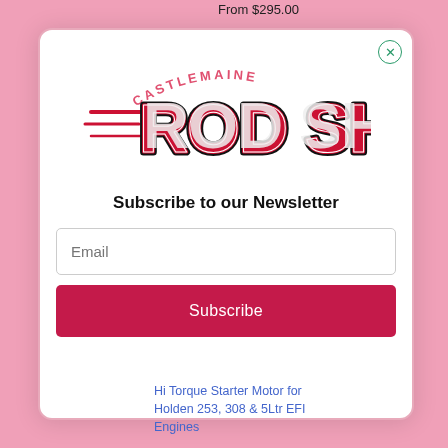From $295.00
[Figure (logo): Castlemaine Rod Shop logo with graffiti-style 'ROD SHOP' text in red, white and black with speed lines]
Subscribe to our Newsletter
Email
Subscribe
Hi Torque Starter Motor for Holden 253, 308 & 5Ltr EFI Engines